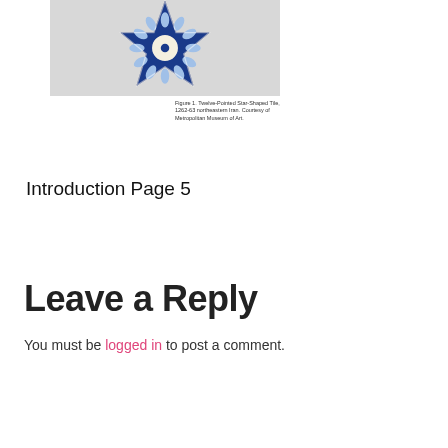[Figure (photo): Partial view of a star-shaped blue and white decorative tile or ceramic piece with floral/geometric pattern, photographed against a white/light gray background.]
Figure 1. Twelve-Pointed Star-Shaped Tile, 1262-63 northeastern Iran. Courtesy of Metropolitan Museum of Art.
Introduction Page 5
Leave a Reply
You must be logged in to post a comment.